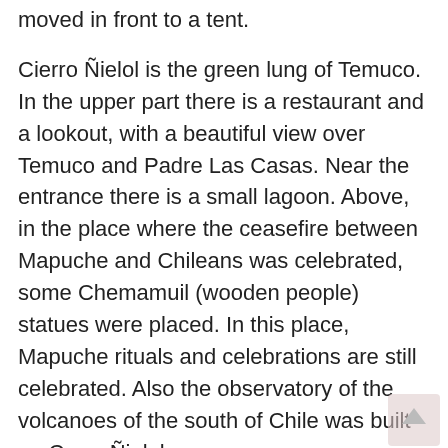moved in front to a tent.
Cierro Ñielol is the green lung of Temuco. In the upper part there is a restaurant and a lookout, with a beautiful view over Temuco and Padre Las Casas. Near the entrance there is a small lagoon. Above, in the place where the ceasefire between Mapuche and Chileans was celebrated, some Chemamuil (wooden people) statues were placed. In this place, Mapuche rituals and celebrations are still celebrated. Also the observatory of the volcanoes of the south of Chile was built on Cerro Ñielol.
If you're hungry and fast food isn't your style, try one of the many cocinerias at the picturesque Feria Pinto, located near the train station. Unfortunately there are no more direct trains from Santiago to Puerto Montt.